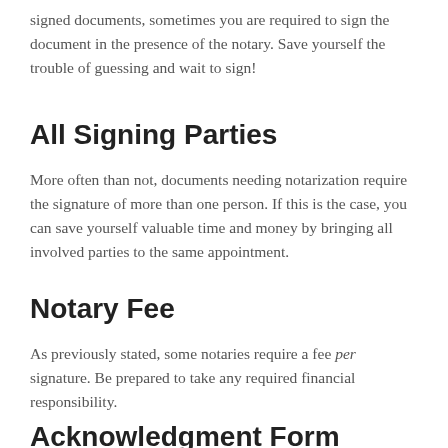signed documents, sometimes you are required to sign the document in the presence of the notary. Save yourself the trouble of guessing and wait to sign!
All Signing Parties
More often than not, documents needing notarization require the signature of more than one person. If this is the case, you can save yourself valuable time and money by bringing all involved parties to the same appointment.
Notary Fee
As previously stated, some notaries require a fee per signature. Be prepared to take any required financial responsibility.
Acknowledgment Form
Any successful notarization will include a notary acknowledgment form or “certificate”. This page will